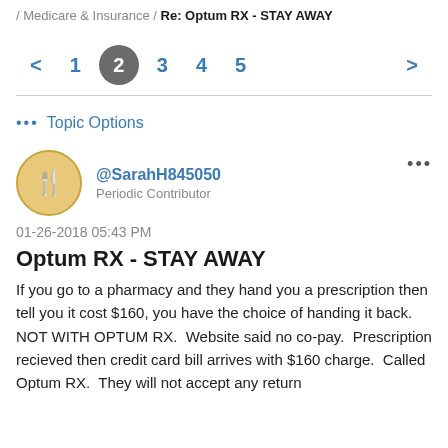/ Medicare & Insurance / Re: Optum RX - STAY AWAY
Pagination: < 1 2 3 4 5 >
••• Topic Options
@SarahH845050
Periodic Contributor
01-26-2018 05:43 PM
Optum RX - STAY AWAY
If you go to a pharmacy and they hand you a prescription then tell you it cost $160, you have the choice of handing it back.  NOT WITH OPTUM RX.  Website said no co-pay.  Prescription recieved then credit card bill arrives with $160 charge.  Called Optum RX.  They will not accept any return